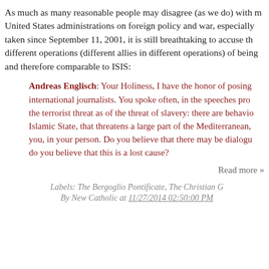As much as many reasonable people may disagree (as we do) with many United States administrations on foreign policy and war, especially positions taken since September 11, 2001, it is still breathtaking to accuse the different operations (different allies in different operations) of being one and therefore comparable to ISIS:
Andreas Englisch: Your Holiness, I have the honor of posing the question of the international journalists. You spoke often, in the speeches provided to us, of the terrorist threat as of the threat of slavery: there are behaviors of the so-called Islamic State, that threatens a large part of the Mediterranean, and directly you, in your person. Do you believe that there may be dialogue with ISIS, or do you believe that this is a lost cause?
Read more »
Labels: The Bergoglio Pontificate, The Christian G
By New Catholic at 11/27/2014 02:50:00 PM